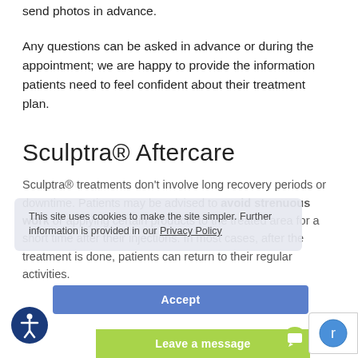send photos in advance.
Any questions can be asked in advance or during the appointment; we are happy to provide the information patients need to feel confident about their treatment plan.
Sculptra® Aftercare
Sculptra® treatments don't involve long recovery periods or downtime. Patients may be advised to avoid strenuous work or applying certain products to the treated area for a short time after their injections. In most cases, after the treatment is done, patients can return to their regular activities.
This site uses cookies to make the site simpler. Further information is provided in our Privacy Policy
Accept
Leave a message